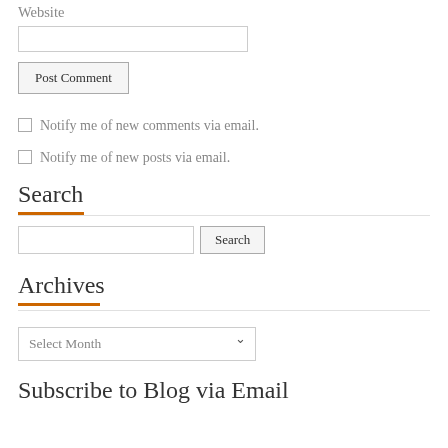Website
Post Comment
Notify me of new comments via email.
Notify me of new posts via email.
Search
Search
Archives
Select Month
Subscribe to Blog via Email